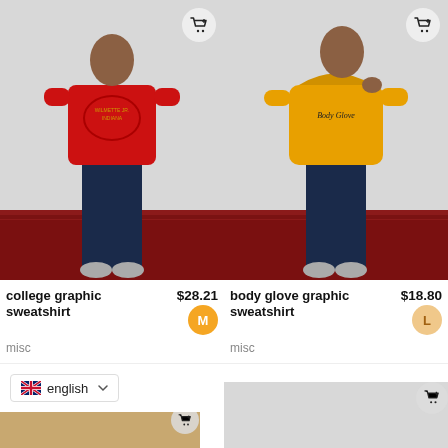[Figure (photo): Man wearing red college graphic sweatshirt with dark jeans, standing on red patterned carpet]
[Figure (photo): Man wearing yellow Body Glove graphic sweatshirt with dark jeans, standing on red patterned carpet]
college graphic sweatshirt
$28.21
M
misc
body glove graphic sweatshirt
$18.80
L
misc
english
[Figure (photo): Partial view of clothing item at bottom left]
[Figure (photo): Partial view of clothing item at bottom right]